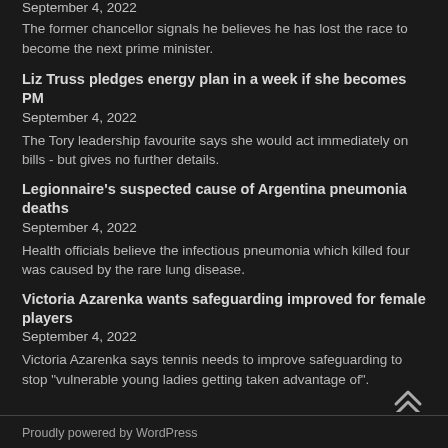September 4, 2022
The former chancellor signals he believes he has lost the race to become the next prime minister.
Liz Truss pledges energy plan in a week if she becomes PM
September 4, 2022
The Tory leadership favourite says she would act immediately on bills - but gives no further details.
Legionnaire's suspected cause of Argentina pneumonia deaths
September 4, 2022
Health officials believe the infectious pneumonia which killed four was caused by the rare lung disease.
Victoria Azarenka wants safeguarding improved for female players
September 4, 2022
Victoria Azarenka says tennis needs to improve safeguarding to stop "vulnerable young ladies getting taken advantage of".
Proudly powered by WordPress